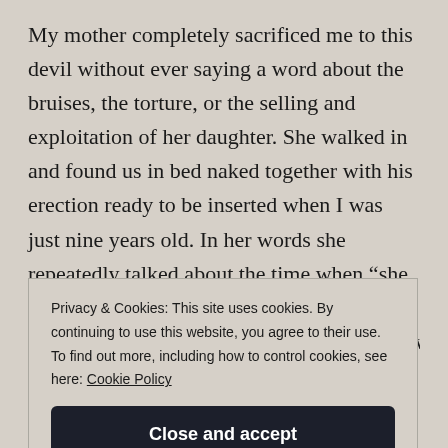My mother completely sacrificed me to this devil without ever saying a word about the bruises, the torture, or the selling and exploitation of her daughter. She walked in and found us in bed naked together with his erection ready to be inserted when I was just nine years old. In her words she repeatedly talked about the time when “she walked in and caught us in bed together” Using the word
Privacy & Cookies: This site uses cookies. By continuing to use this website, you agree to their use.
To find out more, including how to control cookies, see here: Cookie Policy

Close and accept
on how to wash the intimate parts of a child’s body